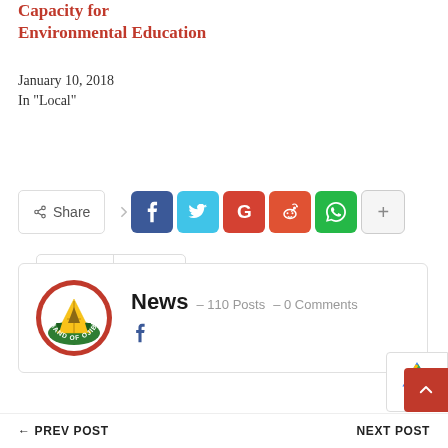Capacity for Environmental Education
January 10, 2018
In "Local"
[Figure (infographic): Stats bar showing 880 fire/hot count and 0 comments]
[Figure (infographic): Share row with Share button, Facebook, Twitter, Google+, Reddit, WhatsApp, and more (+) buttons]
[Figure (infographic): Author box: Leech Lake Band of Ojibwe circular logo, News - 110 Posts - 0 Comments, Facebook icon]
PREV POST   NEXT POST